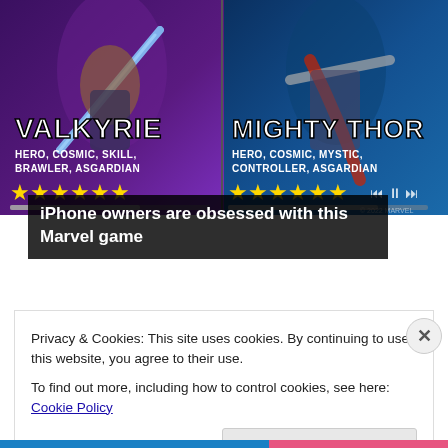[Figure (screenshot): Marvel game advertisement showing two characters: Valkyrie (Hero, Cosmic, Skill, Brawler, Asgardian) with 6 stars on the left, and Mighty Thor (Hero, Cosmic, Mystic, Controller, Asgardian) with 6 stars on the right. Both characters are rendered in game art style against colorful backgrounds.]
iPhone owners are obsessed with this Marvel game
Privacy & Cookies: This site uses cookies. By continuing to use this website, you agree to their use.
To find out more, including how to control cookies, see here: Cookie Policy
Close and accept